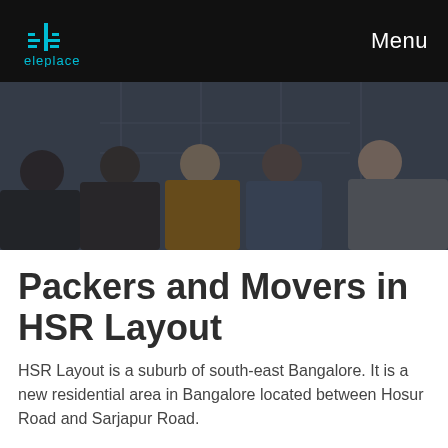eleplace | Menu
[Figure (photo): Group of people around a table in an office setting, looking down at documents, dark overlay over photo]
Packers and Movers in HSR Layout
HSR Layout is a suburb of south-east Bangalore. It is a new residential area in Bangalore located between Hosur Road and Sarjapur Road.